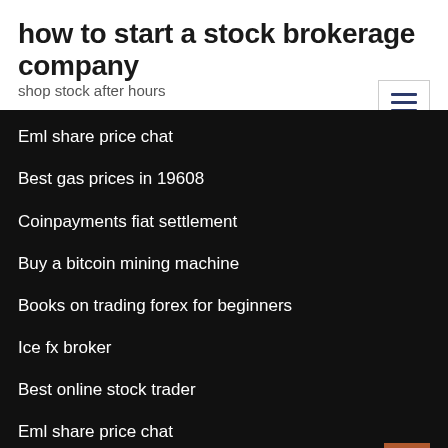how to start a stock brokerage company
shop stock after hours
Eml share price chat
Best gas prices in 19608
Coinpayments fiat settlement
Buy a bitcoin mining machine
Books on trading forex for beginners
Ice fx broker
Best online stock trader
Eml share price chat
Dvn stock price history